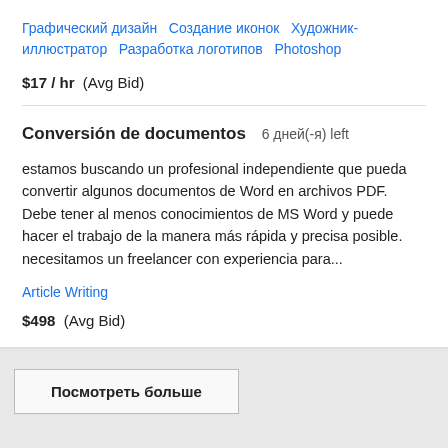Графический дизайн   Создание иконок   Художник-иллюстратор   Разработка логотипов   Photoshop
$17 / hr  (Avg Bid)
Conversión de documentos  6 дней(-я) left
estamos buscando un profesional independiente que pueda convertir algunos documentos de Word en archivos PDF. Debe tener al menos conocimientos de MS Word y puede hacer el trabajo de la manera más rápida y precisa posible. necesitamos un freelancer con experiencia para...
Article Writing
$498  (Avg Bid)
Посмотреть больше